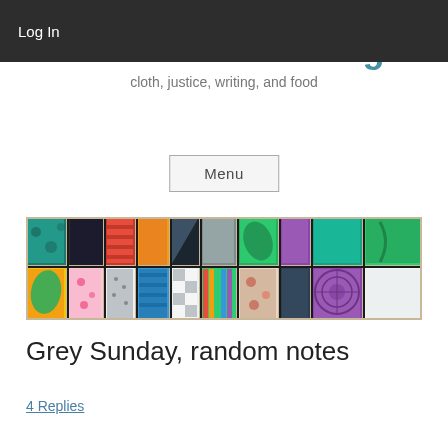Log In
Pattern and Outrage
cloth, justice, writing, and food
Menu
[Figure (photo): A colorful patchwork quilt or fabric collage showing many different patterned and textured fabric swatches arranged in a grid, featuring green, yellow, pink, blue, black and multicolored fabrics.]
Grey Sunday, random notes
4 Replies